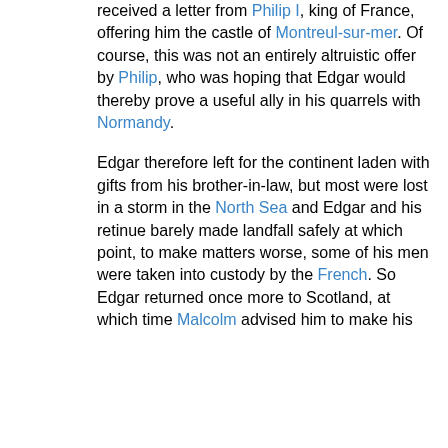received a letter from Philip I, king of France, offering him the castle of Montreul-sur-mer. Of course, this was not an entirely altruistic offer by Philip, who was hoping that Edgar would thereby prove a useful ally in his quarrels with Normandy.
Edgar therefore left for the continent laden with gifts from his brother-in-law, but most were lost in a storm in the North Sea and Edgar and his retinue barely made landfall safely at which point, to make matters worse, some of his men were taken into custody by the French. So Edgar returned once more to Scotland, at which time Malcolm advised him to make his